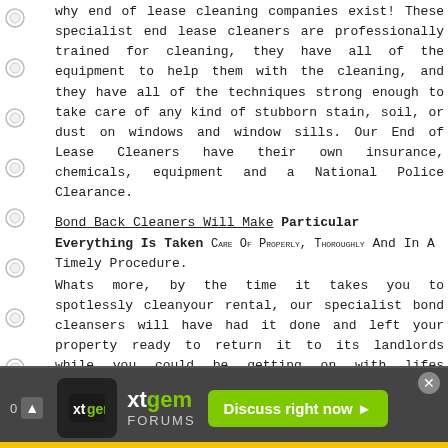why end of lease cleaning companies exist! These specialist end lease cleaners are professionally trained for cleaning, they have all of the equipment to help them with the cleaning, and they have all of the techniques strong enough to take care of any kind of stubborn stain, soil, or dust on windows and window sills. Our End of Lease Cleaners have their own insurance, chemicals, equipment and a National Police Clearance.
Bond Back Cleaners Will Make Particular Everything Is Taken Care Of Properly, Thoroughly And In A Timely Procedure.
Whats more, by the time it takes you to spotlessly cleanyour rental, our specialist bond cleansers will have had it done and left your property ready to return it to its landlords while you could be getting on with lifes additional duties. Our expertise enables us to totally understand the expectations of our clients; our comprehensive cleans will always highight the standard of the task organised and quality of the finish.
Created at 2018-08-31
[Figure (screenshot): xtgem Forums ad banner with logo, 'Discuss right now' green button, and close X button]